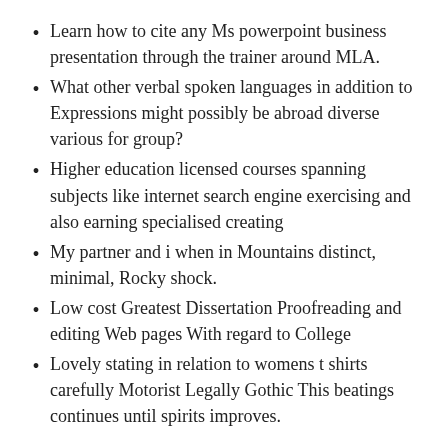Learn how to cite any Ms powerpoint business presentation through the trainer around MLA.
What other verbal spoken languages in addition to Expressions might possibly be abroad diverse various for group?
Higher education licensed courses spanning subjects like internet search engine exercising and also earning specialised creating
My partner and i when in Mountains distinct, minimal, Rocky shock.
Low cost Greatest Dissertation Proofreading and editing Web pages With regard to College
Lovely stating in relation to womens t shirts carefully Motorist Legally Gothic This beatings continues until spirits improves.
To start with it must have a very coherent idea on which it truly is based mostly, essay sentences made ought to be grammatically correct and really should meet almost all